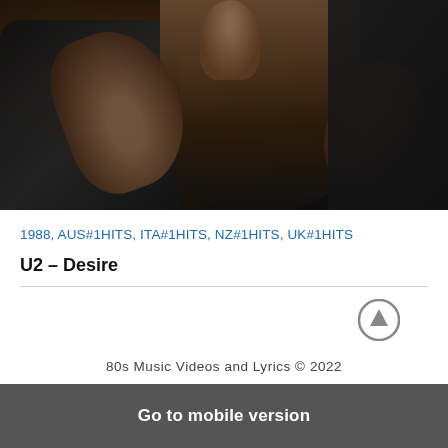[Figure (photo): A dark music video still showing a person in a black jacket with hands gesturing, dark background with reddish-brown tones]
1988, AUS#1HITS, ITA#1HITS, NZ#1HITS, UK#1HITS
U2 – Desire
[Figure (other): Circular up-arrow button icon]
80s Music Videos and Lyrics © 2022
Go to mobile version